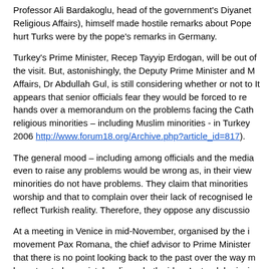Professor Ali Bardakoglu, head of the government's Diyanet Religious Affairs), himself made hostile remarks about Pope hurt Turks were by the pope's remarks in Germany.
Turkey's Prime Minister, Recep Tayyip Erdogan, will be out of the visit. But, astonishingly, the Deputy Prime Minister and M Affairs, Dr Abdullah Gul, is still considering whether or not to It appears that senior officials fear they would be forced to re hands over a memorandum on the problems facing the Cath religious minorities – including Muslim minorities - in Turkey 2006 http://www.forum18.org/Archive.php?article_id=817).
The general mood – including among officials and the media even to raise any problems would be wrong as, in their view minorities do not have problems. They claim that minorities worship and that to complain over their lack of recognised le reflect Turkish reality. Therefore, they oppose any discussio
At a meeting in Venice in mid-November, organised by the i movement Pax Romana, the chief advisor to Prime Minister that there is no point looking back to the past over the way m been treated, as mistakes lie on both sides. Instead, he insi look to what Turkey will be like in fifteen or twenty years. H